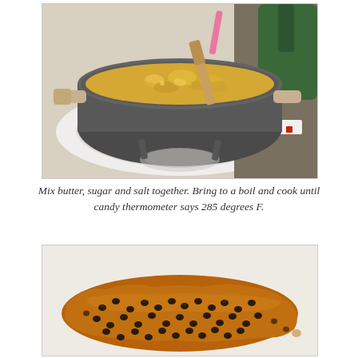[Figure (photo): Overhead view of a stainless steel pot on a white stove burner containing boiling golden sugar mixture with a wooden spoon, with green oven mitt and other items visible on the counter to the right.]
Mix butter, sugar and salt together. Bring to a boil and cook until candy thermometer says 285 degrees F.
[Figure (photo): Overhead view of a flat caramel toffee layer spread on parchment paper, covered with mini chocolate chips scattered across the surface.]